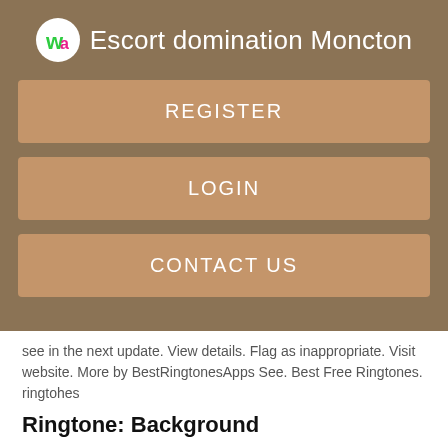Escort domination Moncton
REGISTER
LOGIN
CONTACT US
see in the next update. View details. Flag as inappropriate. Visit website. More by BestRingtonesApps See. Best Free Ringtones. ringtohes
Ringtone: Background
Discover the World's Best and the most Powerful Sounds enjoyed by millions! Old Telephone Ringtones. Old Telephone Ringtones – classic phone ringtones for all lovers of retro phone! See.